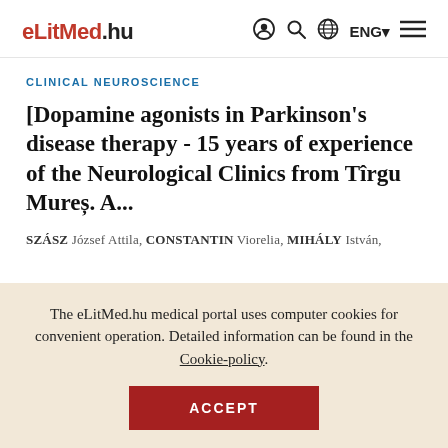eLitMed.hu — navigation header with logo, search, language (ENG), and menu icons
CLINICAL NEUROSCIENCE
[Dopamine agonists in Parkinson's disease therapy - 15 years of experience of the Neurological Clinics from Tîrgu Mureș. A...
SZÁSZ József Attila, CONSTANTIN Viorelia, MIHÁLY István,
The eLitMed.hu medical portal uses computer cookies for convenient operation. Detailed information can be found in the Cookie-policy.